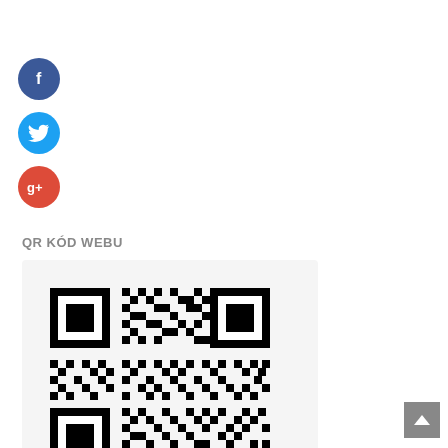[Figure (logo): Facebook circular icon - dark blue circle with white 'f' letter]
[Figure (logo): Twitter circular icon - light blue circle with white bird logo]
[Figure (logo): Google+ circular icon - red circle with white 'g+' text]
QR KÓD WEBU
[Figure (other): QR code for website URL displayed inside a light gray box]